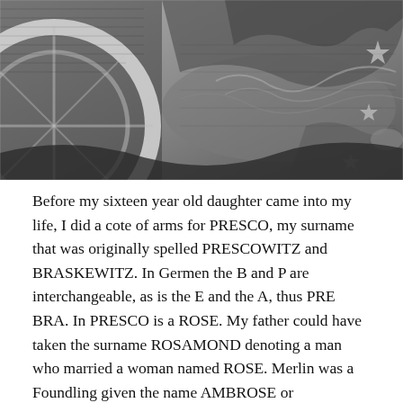[Figure (illustration): Black and white engraving illustration showing a reclining or falling figure in draped robes with stars visible in the background, and a large circular or wheel-like form on the left side.]
Before my sixteen year old daughter came into my life, I did a cote of arms for PRESCO, my surname that was originally spelled PRESCOWITZ and BRASKEWITZ. In Germen the B and P are interchangeable, as is the E and the A, thus PRE BRA. In PRESCO is a ROSE. My father could have taken the surname ROSAMOND denoting a man who married a woman named ROSE. Merlin was a Foundling given the name AMBROSE or AMBROSIUS